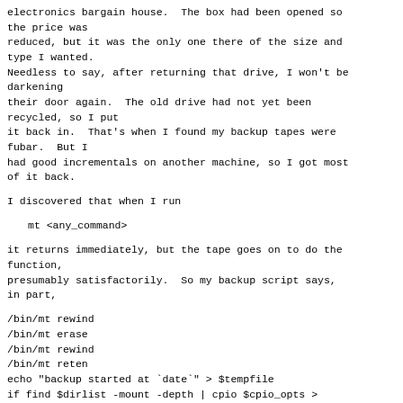electronics bargain house.  The box had been opened so the price was
reduced, but it was the only one there of the size and type I wanted.
Needless to say, after returning that drive, I won't be darkening
their door again.  The old drive had not yet been recycled, so I put
it back in.  That's when I found my backup tapes were fubar.  But I
had good incrementals on another machine, so I got most of it back.
I discovered that when I run
mt <any_command>
it returns immediately, but the tape goes on to do the function,
presumably satisfactorily.  So my backup script says, in part,
/bin/mt rewind
/bin/mt erase
/bin/mt rewind
/bin/mt reten
echo "backup started at `date`" > $tempfile
if find $dirlist -mount -depth | cpio $cpio_opts >
$TAPE 2>>$tempfile
then